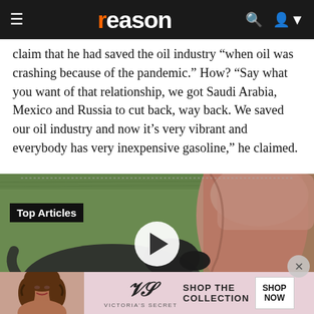reason
claim that he had saved the oil industry "when oil was crashing because of the pandemic." How? "Say what you want of that relationship, we got Saudi Arabia, Mexico and Russia to cut back, way back. We saved our oil industry and now it's very vibrant and everybody has very inexpensive gasoline," he claimed.
[Figure (photo): Video player thumbnail showing a dog biting or mouthing a person's hand/arm with a pillow/cushion, on a grass background. Overlay shows 'Top Articles' badge and a play button circle.]
[Figure (photo): Victoria's Secret advertisement banner showing a model on the left, VS logo, 'SHOP THE COLLECTION' text, and a 'SHOP NOW' button on the right.]